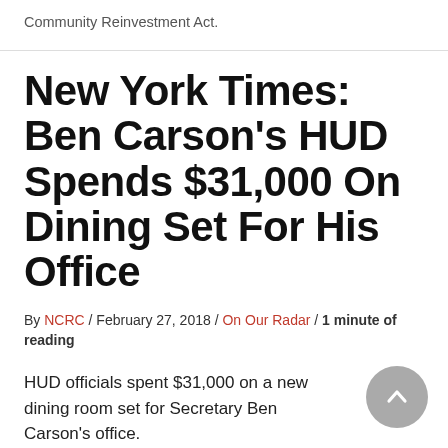Community Reinvestment Act.
New York Times: Ben Carson's HUD Spends $31,000 On Dining Set For His Office
By NCRC / February 27, 2018 / On Our Radar / 1 minute of reading
HUD officials spent $31,000 on a new dining room set for Secretary Ben Carson's office.